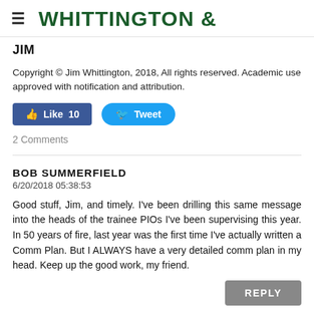≡ WHITTINGTON &
JIM
Copyright © Jim Whittington, 2018, All rights reserved. Academic use approved with notification and attribution.
[Figure (other): Like (10) and Tweet social media buttons]
2 Comments
BOB SUMMERFIELD
6/20/2018 05:38:53
Good stuff, Jim, and timely. I've been drilling this same message into the heads of the trainee PIOs I've been supervising this year. In 50 years of fire, last year was the first time I've actually written a Comm Plan. But I ALWAYS have a very detailed comm plan in my head. Keep up the good work, my friend.
REPLY